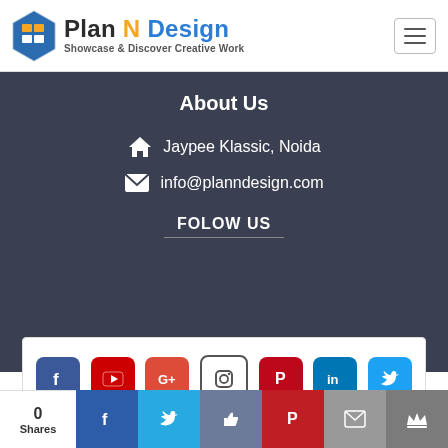[Figure (logo): Plan N Design logo with hexagon icon and text 'Plan N Design - Showcase & Discover Creative Work']
About Us
Jaypee Klassic, Noida
info@planndesign.com
FOLOW US
[Figure (infographic): Social media icons: Facebook, YouTube, Google+, Instagram, Pinterest, LinkedIn, Twitter]
[Figure (infographic): Share bar with 0 Shares count, Facebook, Twitter, Like, Pinterest, Mail, Crown icons]